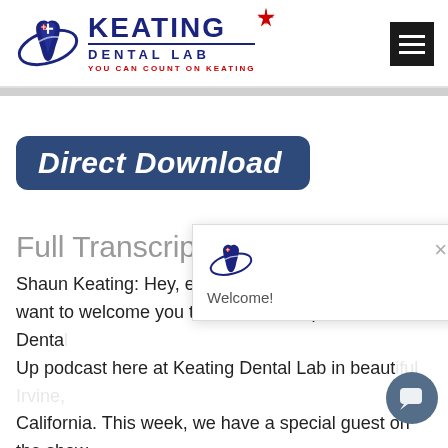[Figure (logo): Keating Dental Lab logo with tooth icon, star, and tagline 'You can count on Keating']
[Figure (illustration): Direct Download button — dark blue rounded rectangle with italic bold white text]
Full Transcriptio
Shaun Keating: Hey, eve[rybody, and I just] want to welcome you to this week's episode of the Denta[l] Up podcast here at Keating Dental Lab in beaut[iful Irvine,] California. This week, we have a special guest on the show.
[Figure (screenshot): Welcome popup overlay with Keating tooth logo, close X button, and 'Welcome!' text]